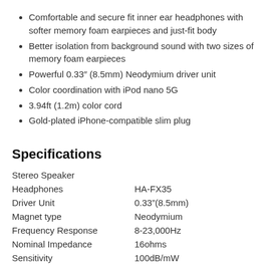Comfortable and secure fit inner ear headphones with softer memory foam earpieces and just-fit body
Better isolation from background sound with two sizes of memory foam earpieces
Powerful 0.33″ (8.5mm) Neodymium driver unit
Color coordination with iPod nano 5G
3.94ft (1.2m) color cord
Gold-plated iPhone-compatible slim plug
Specifications
|  |  |
| --- | --- |
| Stereo Speaker |  |
| Headphones | HA-FX35 |
| Driver Unit | 0.33”(8.5mm) |
| Magnet type | Neodymium |
| Frequency Response | 8-23,000Hz |
| Nominal Impedance | 16ohms |
| Sensitivity | 100dB/mW |